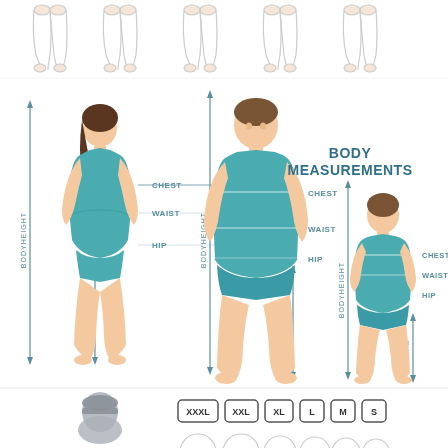[Figure (illustration): Body measurements infographic showing three figures: a woman, a man, and a child, each with measurement arrows indicating body height, inseam, chest, waist, and hip measurements. Top strip shows partial leg outlines. Bottom strip shows size labels XXXL, XXL, XL, L, M, S with partially visible circular figure outlines. A figure in grey appears at bottom left.]